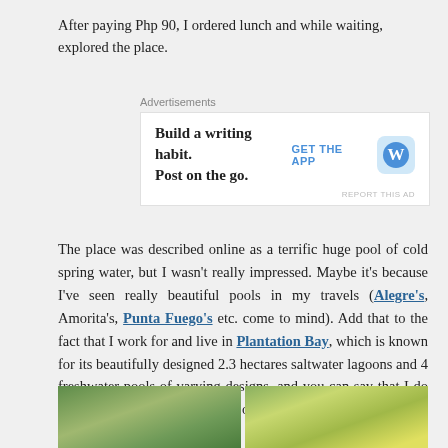After paying Php 90, I ordered lunch and while waiting, explored the place.
[Figure (other): WordPress advertisement banner: 'Build a writing habit. Post on the go.' with GET THE APP button and WordPress icon]
The place was described online as a terrific huge pool of cold spring water, but I wasn't really impressed. Maybe it's because I've seen really beautiful pools in my travels (Alegre's, Amorita's, Punta Fuego's etc. come to mind). Add that to the fact that I work for and live in Plantation Bay, which is known for its beautifully designed 2.3 hectares saltwater lagoons and 4 freshwater pools of varying designs, and you can say that I do know a terrific pool when I see one.
[Figure (photo): Two outdoor photos side by side showing a pool/water area surrounded by tropical greenery and vegetation]